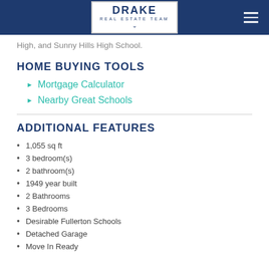DRAKE REAL ESTATE TEAM
High, and Sunny Hills High School.
HOME BUYING TOOLS
Mortgage Calculator
Nearby Great Schools
ADDITIONAL FEATURES
1,055 sq ft
3 bedroom(s)
2 bathroom(s)
1949 year built
2 Bathrooms
3 Bedrooms
Desirable Fullerton Schools
Detached Garage
Move In Ready